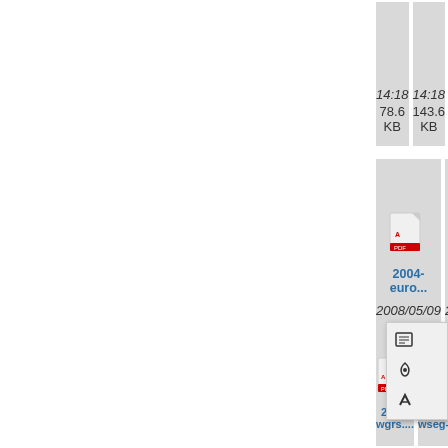[Figure (screenshot): File browser grid view showing PDF file icons with names, dates, and sizes. Top row partial cells showing dates 14:18 78.6 KB, 14:18 143.6 KB, 03:48 75 KB. Middle row: 2004-euro... (2008/05/09 14:18, 59.8 KB), 2004-ict.pdf (2008/05/09 14:18, 92.6 KB), 2004-polic... (2008/05/09 14: 272...) with context menu overlaid. Bottom partial row: 2004-wgrs..., 2004-wseg-..., 2004-wseg- ...]